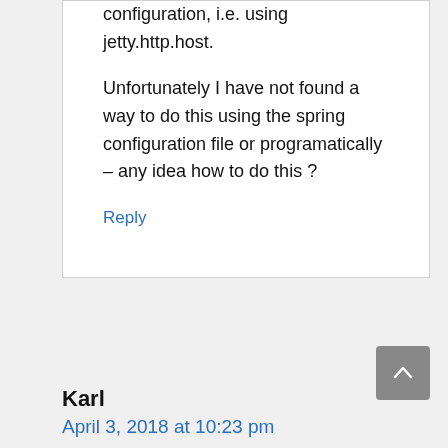configuration, i.e. using jetty.http.host.
Unfortunately I have not found a way to do this using the spring configuration file or programatically – any idea how to do this ?
Reply
Karl
April 3, 2018 at 10:23 pm